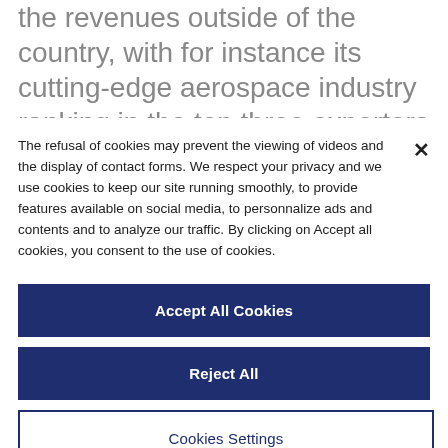the revenues outside of the country, with for instance its cutting-edge aerospace industry ranking in the top three exporters worldwide. France is also the European top destination for direct foreign investments in the industry
The refusal of cookies may prevent the viewing of videos and the display of contact forms. We respect your privacy and we use cookies to keep our site running smoothly, to provide features available on social media, to personnalize ads and contents and to analyze our traffic. By clicking on Accept all cookies, you consent to the use of cookies.